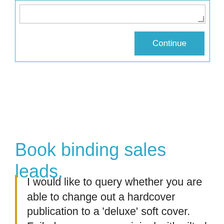[Figure (screenshot): A form input box with a textarea (resizable) and a teal/blue 'Continue' button aligned to the right, inside a teal-bordered container.]
Book binding sales leads.
I would like to query whether you are able to change out a hardcover publication to a 'deluxe' soft cover. Foiled cover as per original with gilted edge?
I have pictures of what I would be looking for. Just need the foiling on